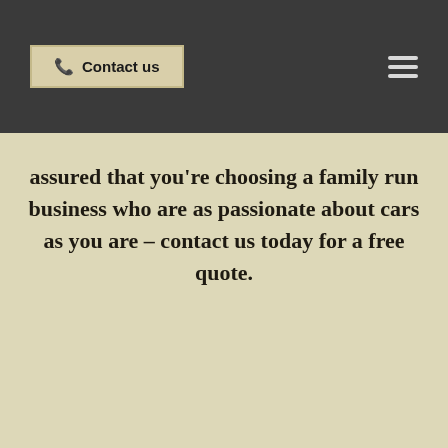Contact us
assured that you’re choosing a family run business who are as passionate about cars as you are – contact us today for a free quote.